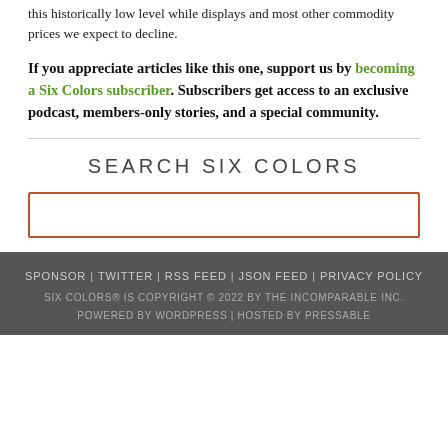this historically low level while displays and most other commodity prices we expect to decline.
If you appreciate articles like this one, support us by becoming a Six Colors subscriber. Subscribers get access to an exclusive podcast, members-only stories, and a special community.
SEARCH SIX COLORS
[Figure (other): Search input box with orange border]
SPONSOR | TWITTER | RSS FEED | JSON FEED | PRIVACY POLICY
SIX COLORS® IS COPYRIGHT © 2022 BY THE INCOMPARABLE INC.
POWERED BY WORDPRESS | HOSTED BY PRESSABLE